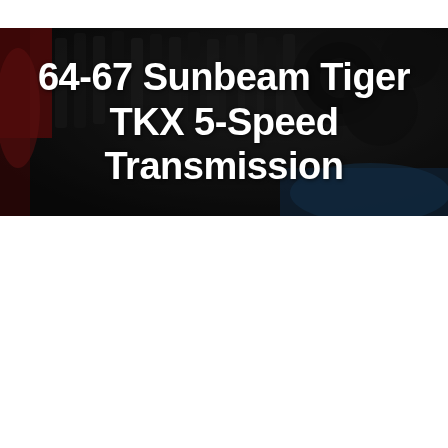[Figure (photo): Dark background photo of automotive transmission gears and mechanical components, with visible red accents on the left and blue/teal accents at the bottom right. The image is heavily darkened/shadowed to serve as a background for the overlaid title text.]
64-67 Sunbeam Tiger TKX 5-Speed Transmission